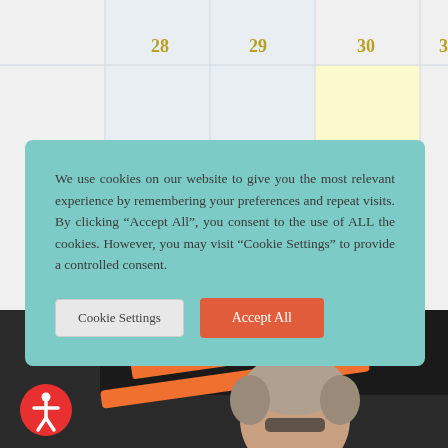[Figure (screenshot): Calendar grid showing dates 28, 29, 30, 31 with alternating white and light gray columns. Date 30 column has a light yellow highlight.]
We use cookies on our website to give you the most relevant experience by remembering your preferences and repeat visits. By clicking “Accept All”, you consent to the use of ALL the cookies. However, you may visit “Cookie Settings” to provide a controlled consent.
Cookie Settings
Accept All
[Figure (photo): A woman with glasses and curly hair looking at camera, with diagonal orange and dark lines overlaid in the upper portion.]